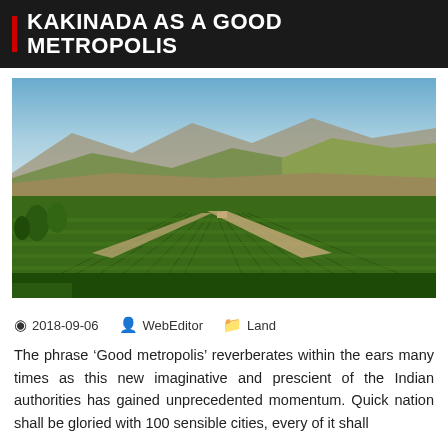KAKINADA AS A GOOD METROPOLIS
[Figure (photo): Aerial/wide-angle view of agricultural fields with rows of crops (vineyard), winding dirt roads, and hills with mountains in the background under a clear blue sky.]
2018-09-06   WebEditor   Land
The phrase ‘Good metropolis’ reverberates within the ears many times as this new imaginative and prescient of the Indian authorities has gained unprecedented momentum. Quick nation shall be gloried with 100 sensible cities, every of it shall